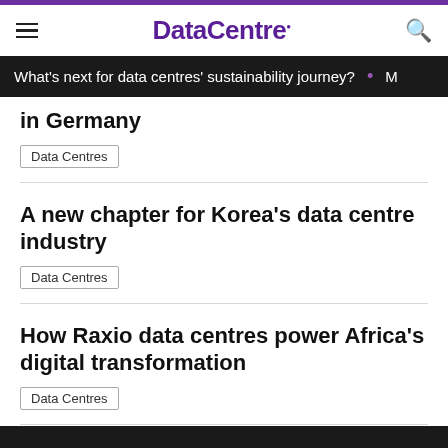DataCentre.
What's next for data centres' sustainability journey?
in Germany
Data Centres
A new chapter for Korea's data centre industry
Data Centres
How Raxio data centres power Africa's digital transformation
Data Centres